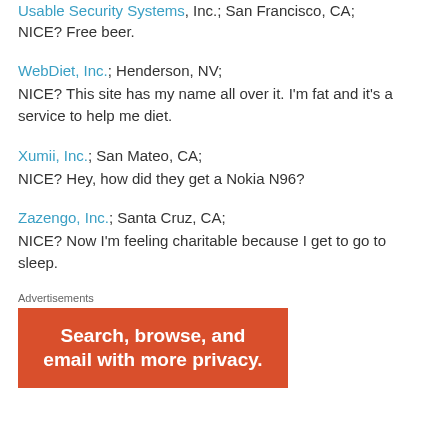Usable Security Systems, Inc.; San Francisco, CA;
NICE? Free beer.
WebDiet, Inc.; Henderson, NV;
NICE? This site has my name all over it. I'm fat and it's a service to help me diet.
Xumii, Inc.; San Mateo, CA;
NICE? Hey, how did they get a Nokia N96?
Zazengo, Inc.; Santa Cruz, CA;
NICE? Now I'm feeling charitable because I get to go to sleep.
Advertisements
[Figure (other): Orange advertisement banner with white bold text: 'Search, browse, and email with more privacy.']